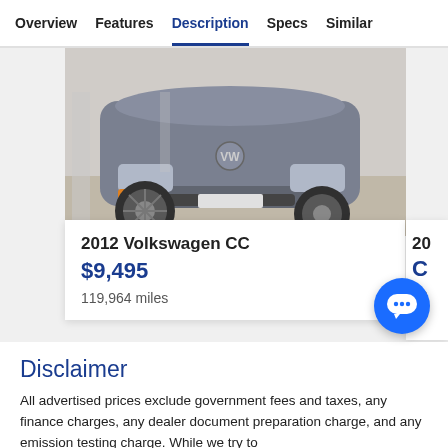Overview | Features | Description | Specs | Similar
[Figure (photo): Front view of a grey Volkswagen CC parked on a surface lot, seen from a low angle showing the front bumper, wheel, and hood]
2012 Volkswagen CC
$9,495
119,964 miles
[Figure (other): Partially visible car card on the right edge showing truncated text: 20, C, 12]
[Figure (infographic): Carousel pagination dots: 5 dots, first one filled dark blue (active), remaining four grey]
[Figure (infographic): Blue circular chat button with three white dots (ellipsis/chat icon)]
Disclaimer
All advertised prices exclude government fees and taxes, any finance charges, any dealer document preparation charge, and any emission testing charge. While we try to